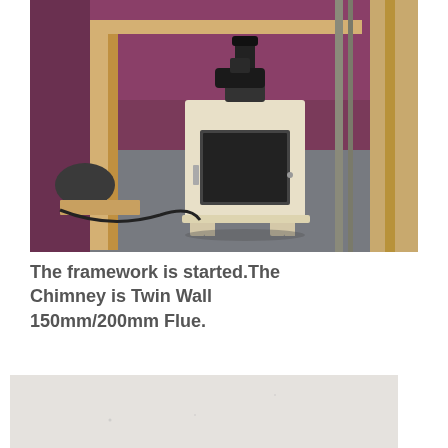[Figure (photo): A cream/off-white wood burning stove sitting on a grey carpet in a room with purple/magenta walls and wooden framing being constructed around it. A power drill sits on top of the stove. Construction materials and tools are visible on the floor.]
The framework is started.The Chimney is Twin Wall 150mm/200mm Flue.
[Figure (photo): A partially visible photo at the bottom of the page showing a light grey/white surface, likely a wall or ceiling with minimal detail visible.]